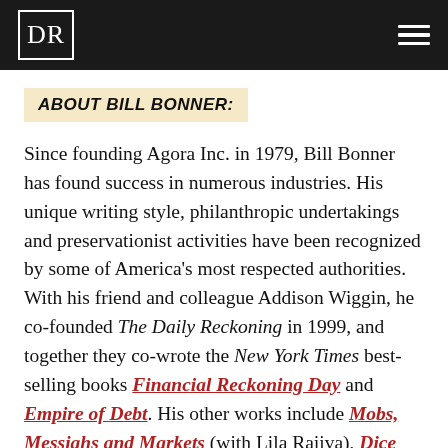DR
ABOUT BILL BONNER:
Since founding Agora Inc. in 1979, Bill Bonner has found success in numerous industries. His unique writing style, philanthropic undertakings and preservationist activities have been recognized by some of America's most respected authorities. With his friend and colleague Addison Wiggin, he co-founded The Daily Reckoning in 1999, and together they co-wrote the New York Times best-selling books Financial Reckoning Day and Empire of Debt. His other works include Mobs, Messiahs and Markets (with Lila Rajiva), Dice Have No Memory, and